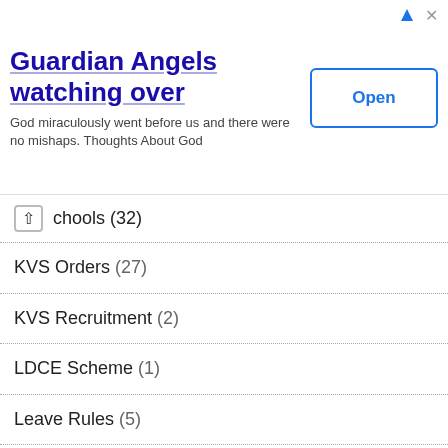[Figure (screenshot): Advertisement banner: 'Guardian Angels watching over' with text 'God miraculously went before us and there were no mishaps. Thoughts About God' and an 'Open' button]
chools (32)
KVS Orders (27)
KVS Recruitment (2)
LDCE Scheme (1)
Leave Rules (5)
LIC Employees (28)
LIC Pensioners (7)
LTC (26)
MACP (30)